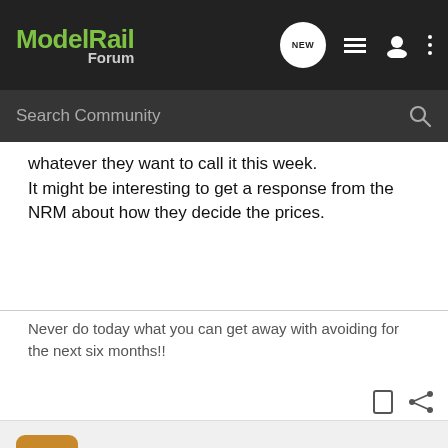ModelRail Forum
whatever they want to call it this week.
It might be interesting to get a response from the NRM about how they decide the prices.
Never do today what you can get away with avoiding for the next six months!!
spongebob · Registered
Joined Dec 21, 2005 · 763 Posts
#28 · Feb 16, 2006
By the way can I just point out that this spellcheck is so useless